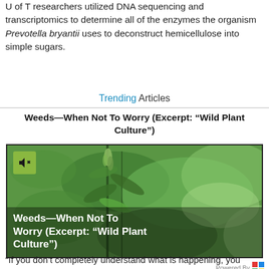U of T researchers utilized DNA sequencing and transcriptomics to determine all of the enzymes the organism Prevotella bryantii uses to deconstruct hemicellulose into simple sugars.
Trending Articles
Weeds—When Not To Worry (Excerpt: “Wild Plant Culture”)
[Figure (photo): Close-up photo of a weed plant with green foliage in the background. A muted speaker icon appears in the top-left corner. Text overlay reads: Weeds—When Not To Worry (Excerpt: “Wild Plant Culture”)]
Powered By
“If you don’t completely understand what is happening, you